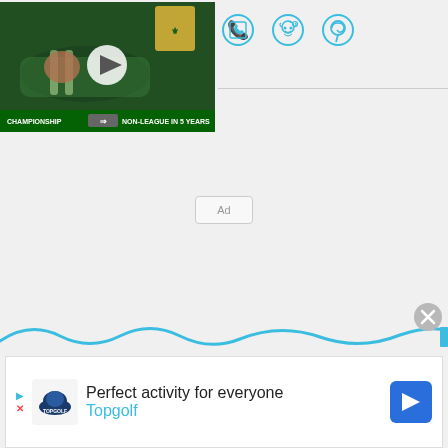[Figure (screenshot): Video thumbnail showing a football player on the ground wearing green kit, with a green crest logo, play button overlay, and caption 'Championship -> Non-League In 5 Years']
[Figure (infographic): Three cyan social media icons: WhatsApp, Reddit, Pinterest]
Ad
[Figure (infographic): Cyan wavy line decoration across the bottom of the page, with an X close button on the right]
[Figure (infographic): Topgolf advertisement banner: Topgolf logo with text 'Perfect activity for everyone' and 'Topgolf' in cyan, with a blue navigation arrow on the right]